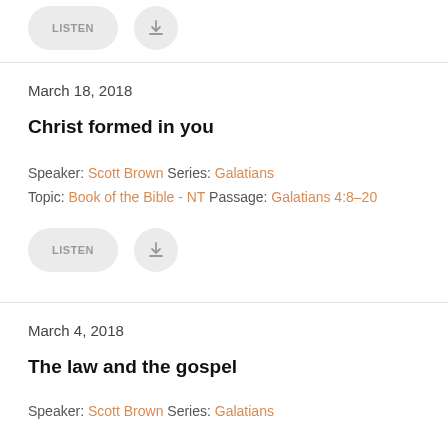[Figure (other): LISTEN button and download icon buttons at top of page (partially cut off)]
March 18, 2018
Christ formed in you
Speaker: Scott Brown Series: Galatians
Topic: Book of the Bible - NT Passage: Galatians 4:8–20
[Figure (other): LISTEN pill button and download icon button]
March 4, 2018
The law and the gospel
Speaker: Scott Brown Series: Galatians